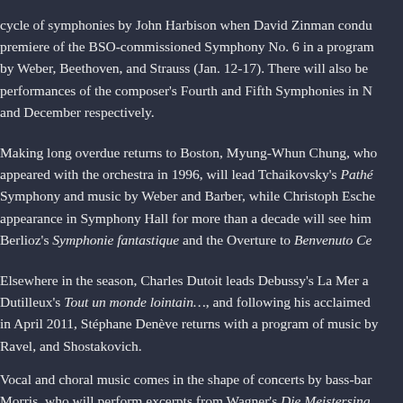cycle of symphonies by John Harbison when David Zinman condu premiere of the BSO-commissioned Symphony No. 6 in a program by Weber, Beethoven, and Strauss (Jan. 12-17). There will also be performances of the composer's Fourth and Fifth Symphonies in N and December respectively.
Making long overdue returns to Boston, Myung-Whun Chung, who appeared with the orchestra in 1996, will lead Tchaikovsky's Pathé Symphony and music by Weber and Barber, while Christoph Esche appearance in Symphony Hall for more than a decade will see him Berlioz's Symphonie fantastique and the Overture to Benvenuto Ce
Elsewhere in the season, Charles Dutoit leads Debussy's La Mer a Dutilleux's Tout un monde lointain…, and following his acclaimed in April 2011, Stéphane Denève returns with a program of music by Ravel, and Shostakovich.
Vocal and choral music comes in the shape of concerts by bass-bar Morris, who will perform excerpts from Wagner's Die Meistersing